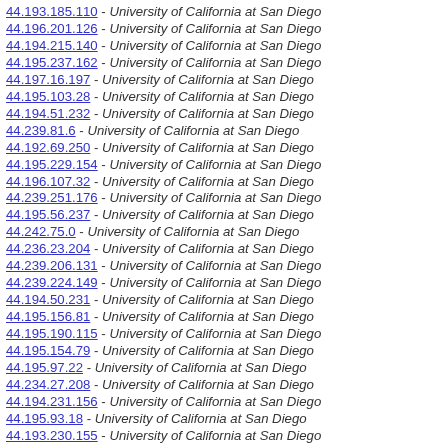44.193.185.110 - University of California at San Diego
44.196.201.126 - University of California at San Diego
44.194.215.140 - University of California at San Diego
44.195.237.162 - University of California at San Diego
44.197.16.197 - University of California at San Diego
44.195.103.28 - University of California at San Diego
44.194.51.232 - University of California at San Diego
44.239.81.6 - University of California at San Diego
44.192.69.250 - University of California at San Diego
44.195.229.154 - University of California at San Diego
44.196.107.32 - University of California at San Diego
44.239.251.176 - University of California at San Diego
44.195.56.237 - University of California at San Diego
44.242.75.0 - University of California at San Diego
44.236.23.204 - University of California at San Diego
44.239.206.131 - University of California at San Diego
44.239.224.149 - University of California at San Diego
44.194.50.231 - University of California at San Diego
44.195.156.81 - University of California at San Diego
44.195.190.115 - University of California at San Diego
44.195.154.79 - University of California at San Diego
44.195.97.22 - University of California at San Diego
44.234.27.208 - University of California at San Diego
44.194.231.156 - University of California at San Diego
44.195.93.18 - University of California at San Diego
44.193.230.155 - University of California at San Diego
44.194.1.182 - University of California at San Diego
44.242.121.46 - University of California at San Diego
44.192.71.252 - University of California at San Diego
44.193.8.189 - University of California at San Diego